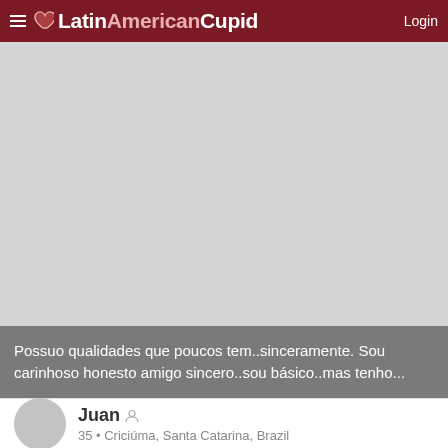LatinAmericanCupid Login
[Figure (photo): Gray placeholder image for user profile photo]
Possuo qualidades que poucos tem..sinceramente. Sou carinhoso honesto amigo sincero..sou básico..mas tenho...
Juan  35 • Criciúma, Santa Catarina, Brazil